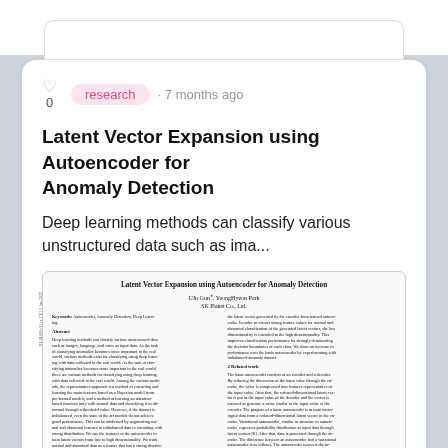research · 7 months ago
Latent Vector Expansion using Autoencoder for Anomaly Detection
Deep learning methods can classify various unstructured data such as ima...
[Figure (screenshot): Embedded preview of the academic paper 'Latent Vector Expansion using Autoencoder for Anomaly Detection' by Uiu Gun, YeongHyeon Park, SK Planet Co., Ltd., showing title, authors, affiliation, keywords, abstract, and a partial two-column body text including a Related Work section.]